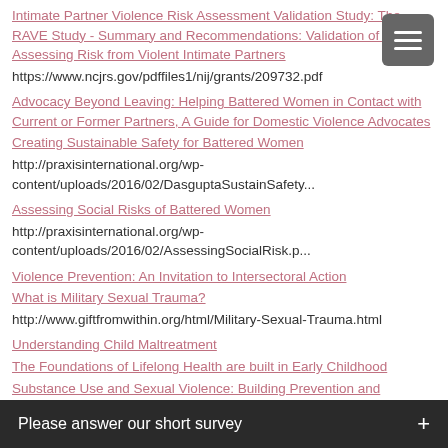Intimate Partner Violence Risk Assessment Validation Study: The RAVE Study - Summary and Recommendations: Validation of Tools for Assessing Risk from Violent Intimate Partners
https://www.ncjrs.gov/pdffiles1/nij/grants/209732.pdf
Advocacy Beyond Leaving: Helping Battered Women in Contact with Current or Former Partners, A Guide for Domestic Violence Advocates
Creating Sustainable Safety for Battered Women
http://praxisinternational.org/wp-content/uploads/2016/02/DasguptaSustainSafety...
Assessing Social Risks of Battered Women
http://praxisinternational.org/wp-content/uploads/2016/02/AssessingSocialRisk.p...
Violence Prevention: An Invitation to Intersectoral Action
What is Military Sexual Trauma?
http://www.giftfromwithin.org/html/Military-Sexual-Trauma.html
Understanding Child Maltreatment
The Foundations of Lifelong Health are built in Early Childhood
Substance Use and Sexual Violence: Building Prevention and Intervention Responses
Please answer our short survey +